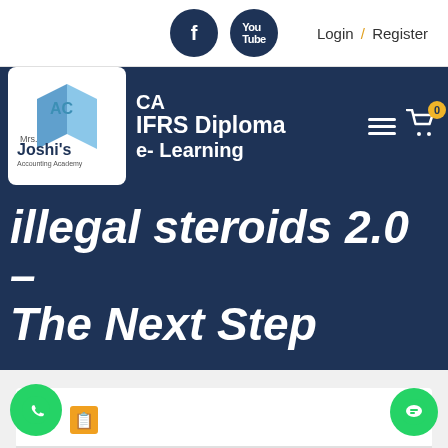Login / Register
[Figure (logo): Mrs. Joshi's Accounting Academy logo with CA, IFRS Diploma, e-Learning navigation bar]
illegal steroids 2.0 – The Next Step
[Figure (screenshot): White content card area below the hero title]
[Figure (logo): WhatsApp button and note icon at bottom left, chat button at bottom right]